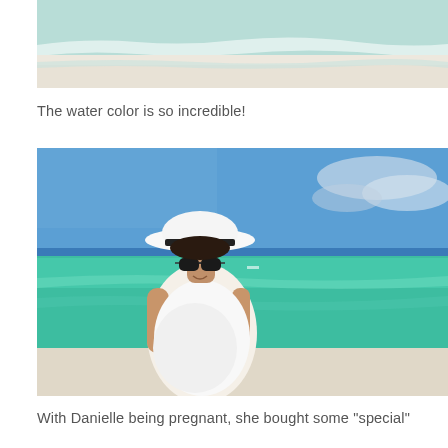[Figure (photo): Top portion of a beach scene showing white sandy beach and gentle ocean waves with turquoise water]
The water color is so incredible!
[Figure (photo): A smiling pregnant woman wearing a white tank top, white sun hat with black band, and large sunglasses, standing on a beach with vivid turquoise/green ocean water and blue sky behind her]
With Danielle being pregnant, she bought some "special"